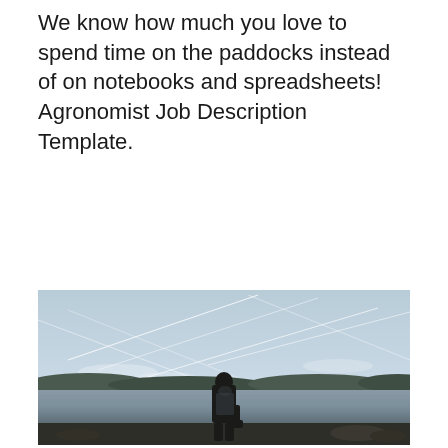We know how much you love to spend time on the paddocks instead of on notebooks and spreadsheets! Agronomist Job Description Template.
[Figure (photo): A person standing in silhouette at the edge of a calm reflective lake, with a dramatic sky criss-crossed by contrails and distant treeline on the horizon at dusk.]